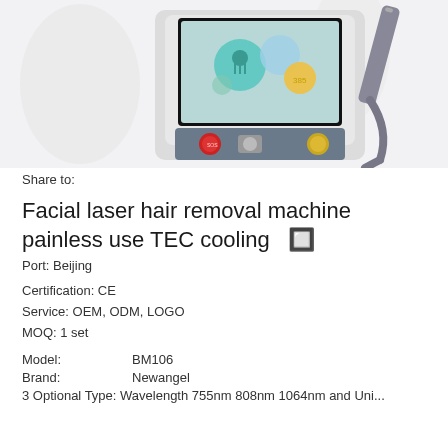[Figure (photo): Facial laser hair removal machine with touchscreen display showing icons, control panel with connectors, and a handheld applicator wand on the right side. Device is white/grey colored.]
Share to:
Facial laser hair removal machine painless use TEC cooling 🔲
Port: Beijing
Certification: CE
Service: OEM, ODM, LOGO
MOQ: 1 set
Model:          BM106
Brand:          Newangel
3 Optional Type: Wavelength 755nm 808nm 1064nm and Uni...